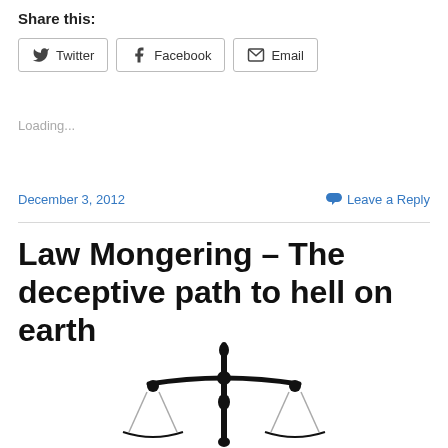Share this:
Twitter  Facebook  Email
Loading...
December 3, 2012
Leave a Reply
Law Mongering – The deceptive path to hell on earth
[Figure (illustration): Black silhouette of a scales of justice icon with ornate finials and two hanging pans]